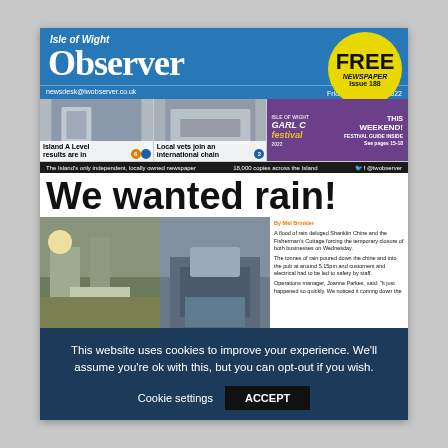[Figure (screenshot): Isle of Wight Observer newspaper front page screenshot shown inside a browser window]
Isle of Wight Observer
FREE NEWSPAPER Issue 188
newsdesk@iwobserver.co.uk    Friday 19th August 2022
Island A Level results are in
Local vets join an international chain
GARLIC Festival 2022  THIS WEEKEND! FESTIVAL GUIDE INSIDE See pages 15-18
The Island's only independent, locally owned newspaper    18,000 copies across the Island    @iwobserver
We wanted rain!
By Mel Brinkler
A flood of rain deluged Shanklin Chine and the Fisherman's Cottage forcing the temporary closure of both businesses on Wednesday.
The tonnes of rain poured down the chine and into the pub at around 5.15pm and customers and electrical had to be led to safety by staff.
Operations manager, Joanne Parkes, said: "It just happened so quickly. We noticed it coming down the
my husband, Matthew, the general manager, moving people to higher ground out of the way. The most important thing was that no one was injured.
"There's a lot of debris on site and we will have to re-gravel the paths before we open. We also have contractors checking all the electrics and cables.
"The pub-team played their part, evacuating customers and then staff helped sort upon emptying buckets of
This website uses cookies to improve your experience. We'll assume you're ok with this, but you can opt-out if you wish.
Cookie settings
ACCEPT